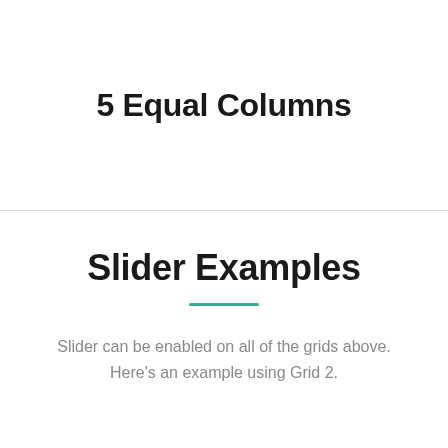5 Equal Columns
Slider Examples
Slider can be enabled on all of the grids above. Here's an example using Grid 2.